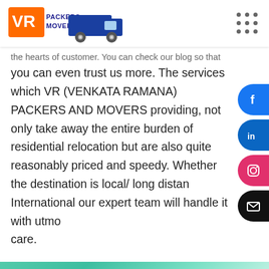[Figure (logo): VR Packers Movers logo with orange VR text and blue truck icon]
[Figure (other): 3x3 grid of dots (menu/hamburger dots icon)]
the hearts of customer. You can check our blog so that you can even trust us more. The services which VR (VENKATA RAMANA) PACKERS AND MOVERS providing, not only take away the entire burden of residential relocation but are also quite reasonably priced and speedy. Whether the destination is local/ long distance/ International our expert team will handle it with utmost care.
[Figure (other): Social media sidebar with Facebook, LinkedIn, Instagram, and Email icon buttons on the right edge]
[Figure (other): Bottom section with gray background, circular image placeholder, teal/green gradient strip, scroll-up blue button, and WhatsApp chat bubble saying Hi, how can I help?]